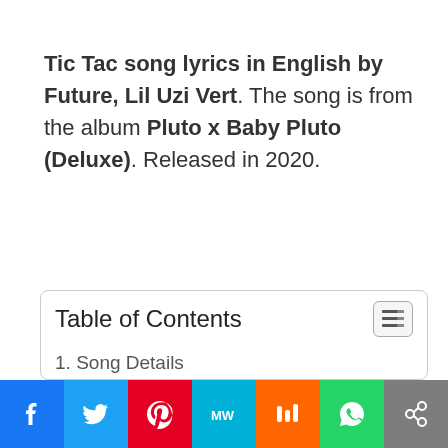Tic Tac song lyrics in English by Future, Lil Uzi Vert. The song is from the album Pluto x Baby Pluto (Deluxe). Released in 2020.
| Table of Contents |
| --- |
| 1. Song Details |
| 2. Tic Tac Song Lyrics – Future, Lil Uzi Vert |
| 3. Watch Now the Music Video of the song Tic Tac by Future, Lil Uzi Vert |
[Figure (other): Social media share bar with buttons: Facebook, Twitter, Pinterest, MeWe, Mix, WhatsApp, Share]